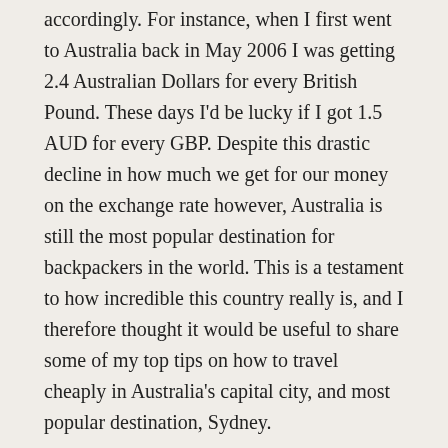accordingly. For instance, when I first went to Australia back in May 2006 I was getting 2.4 Australian Dollars for every British Pound. These days I'd be lucky if I got 1.5 AUD for every GBP. Despite this drastic decline in how much we get for our money on the exchange rate however, Australia is still the most popular destination for backpackers in the world. This is a testament to how incredible this country really is, and I therefore thought it would be useful to share some of my top tips on how to travel cheaply in Australia's capital city, and most popular destination, Sydney.
Drink Goon
Part of the backpacker experience is about partying. No matter how many sights, attractions, and local culture you see or experience, a lot of what makes being a backpacker so fun is experiencing it with i